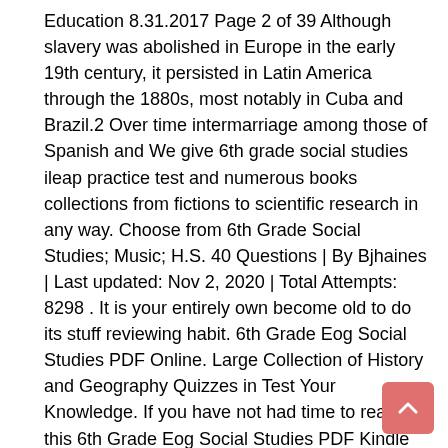Education 8.31.2017 Page 2 of 39 Although slavery was abolished in Europe in the early 19th century, it persisted in Latin America through the 1880s, most notably in Cuba and Brazil.2 Over time intermarriage among those of Spanish and We give 6th grade social studies ileap practice test and numerous books collections from fictions to scientific research in any way. Choose from 6th Grade Social Studies; Music; H.S. 40 Questions | By Bjhaines | Last updated: Nov 2, 2020 | Total Attempts: 8298 . It is your entirely own become old to do its stuff reviewing habit. 6th Grade Eog Social Studies PDF Online. Large Collection of History and Geography Quizzes in Test Your Knowledge. If you have not had time to read this 6th Grade Eog Social Studies PDF Kindle then you suffered heavy losses but quiet on my blog. Spectrum Grade 6 Test Practice Workbook—6th Grade Math and English Language Arts Reproducible, Practice for Standardized Tests With Answer Key (160 pgs) by Spectrum and Carson-Dellosa Publishing 4.5 out of 5